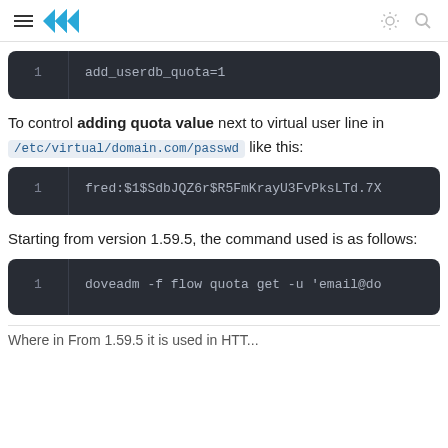Navigation header with logo
[Figure (screenshot): Code block showing: add_userdb_quota=1]
To control adding quota value next to virtual user line in /etc/virtual/domain.com/passwd like this:
[Figure (screenshot): Code block showing: fred:$1$SdbJQZ6r$R5FmKrayU3FvPksLTd.7X]
Starting from version 1.59.5, the command used is as follows:
[Figure (screenshot): Code block showing: doveadm -f flow quota get -u 'email@do]
Where in From 1.59.5 it is used in HTT...